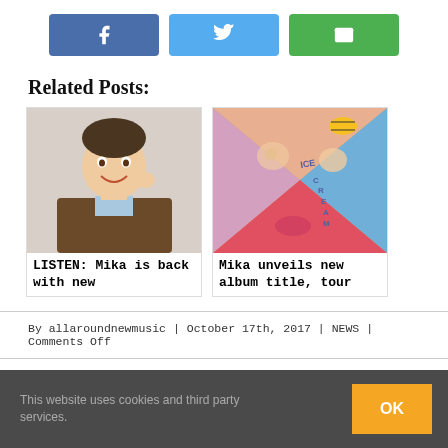[Figure (other): Social share buttons: Facebook (blue), Twitter (light blue), Email (green)]
Related Posts:
[Figure (photo): Photo of Mika smiling, wearing a brown jacket]
LISTEN: Mika is back with new
[Figure (photo): Mika album art with collaged face and text ICE CREAM]
Mika unveils new album title, tour
By allaroundnewmusic | October 17th, 2017 | NEWS | Comments Off
This website uses cookies and third party services.